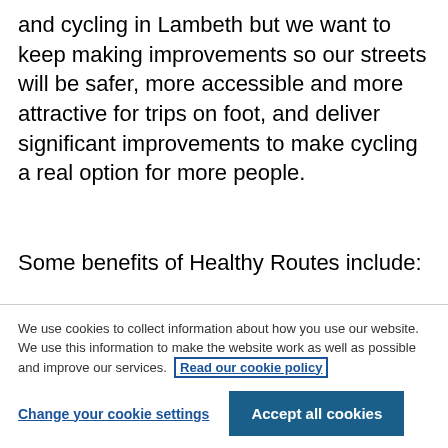and cycling in Lambeth but we want to keep making improvements so our streets will be safer, more accessible and more attractive for trips on foot, and deliver significant improvements to make cycling a real option for more people.
Some benefits of Healthy Routes include:
Making neighbourhoods where many shorter
We use cookies to collect information about how you use our website. We use this information to make the website work as well as possible and improve our services. Read our cookie policy
Change your cookie settings | Accept all cookies